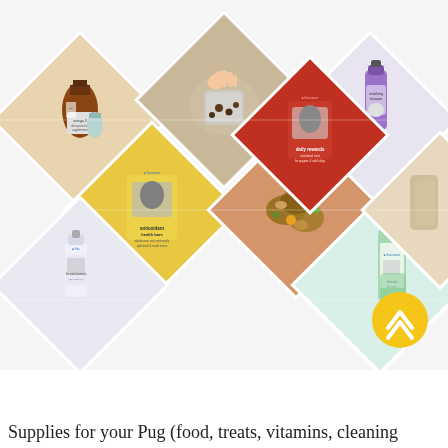[Figure (photo): A diamond/rhombus grid collage of pet product photos including: omega-3 supplement bottles, antioxidant health bars in yellow packaging, a hand scooping treats from a jar, daily rewards treats in red/gray packaging, a purple shampoo bottle, a green cleaning solution bottle, a small white dropper bottle for cats, and wet food/stew. A gold circular arrow button is visible in the lower right of the collage. Products appear to be from the 'thisurance' or similar pet brand.]
Supplies for your Pug (food, treats, vitamins, cleaning